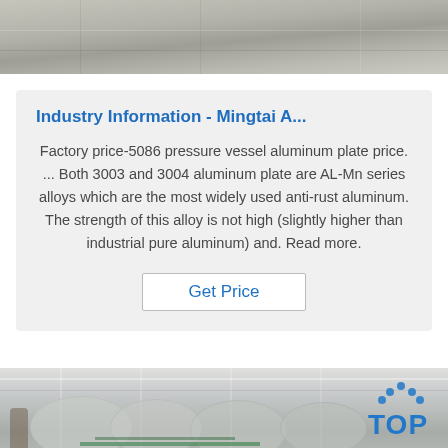[Figure (photo): Top portion of an industrial/warehouse floor photo, partially cropped]
Industry Information - Mingtai A...
Factory price-5086 pressure vessel aluminum plate price. ... Both 3003 and 3004 aluminum plate are AL-Mn series alloys which are the most widely used anti-rust aluminum. The strength of this alloy is not high (slightly higher than industrial pure aluminum) and. Read more.
Get Price
[Figure (photo): Interior of an industrial warehouse with large aluminum rolls/pipes and high ceiling with skylights. Worker visible at left. TOP logo overlay at bottom right.]